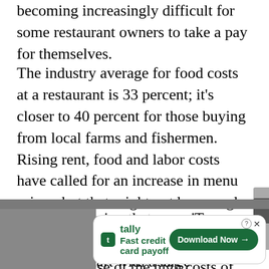becoming increasingly difficult for some restaurant owners to take a pay for themselves.
The industry average for food costs at a restaurant is 33 percent; it’s closer to 40 percent for those buying from local farms and fishermen. Rising rent, food and labor costs have called for an increase in menu prices, but that might not be enough. In May, a one-year-old restaurant on the West Side of Providence, Pastaio, closed because of the high costs of running a small restaurant that relies on local ingredients.
“There’s a saying that goes, ‘To make a small fortune at a restaurant, start with a large fortune,’ ” says
[Figure (infographic): Advertisement banner for Tally app - Fast credit card payoff with Download Now button]